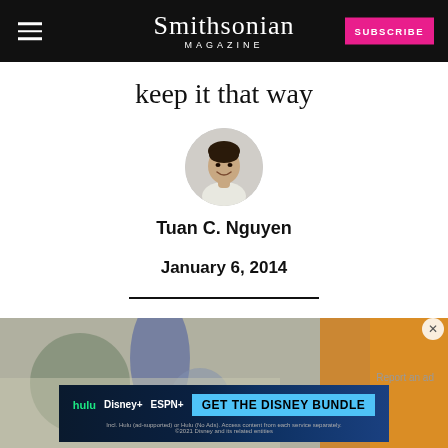Smithsonian MAGAZINE | SUBSCRIBE
keep it that way
[Figure (photo): Circular author headshot of Tuan C. Nguyen, a young Asian man smiling]
Tuan C. Nguyen
January 6, 2014
[Figure (photo): Article lead image, partially visible, showing blurred colorful background]
[Figure (other): Disney Bundle advertisement banner: GET THE DISNEY BUNDLE, featuring hulu, Disney+, ESPN+ logos]